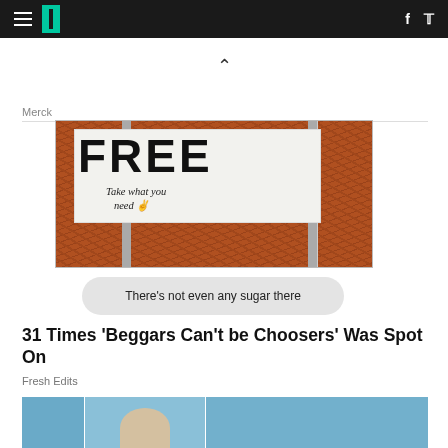HuffPost navigation bar with hamburger menu, logo, Facebook and Twitter icons
[Figure (photo): Photo of a 'FREE – Take what you need' sign on wooden posts in mulch/woodchips]
Merck
There's not even any sugar there
31 Times 'Beggars Can't be Choosers' Was Spot On
Fresh Edits
[Figure (photo): Bottom strip showing partial images of people at an outdoor event]